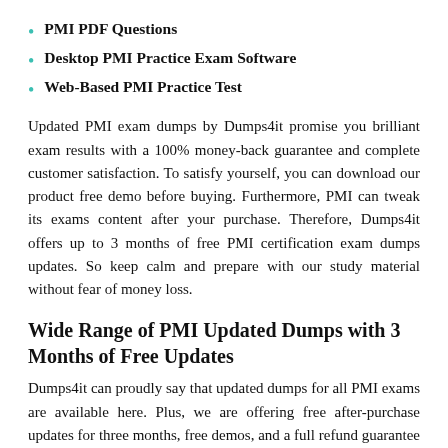PMI PDF Questions
Desktop PMI Practice Exam Software
Web-Based PMI Practice Test
Updated PMI exam dumps by Dumps4it promise you brilliant exam results with a 100% money-back guarantee and complete customer satisfaction. To satisfy yourself, you can download our product free demo before buying. Furthermore, PMI can tweak its exams content after your purchase. Therefore, Dumps4it offers up to 3 months of free PMI certification exam dumps updates. So keep calm and prepare with our study material without fear of money loss.
Wide Range of PMI Updated Dumps with 3 Months of Free Updates
Dumps4it can proudly say that updated dumps for all PMI exams are available here. Plus, we are offering free after-purchase updates for three months, free demos, and a full refund guarantee for all given PMI exam dumps. So what are you waiting for? Select your desired certification exam and